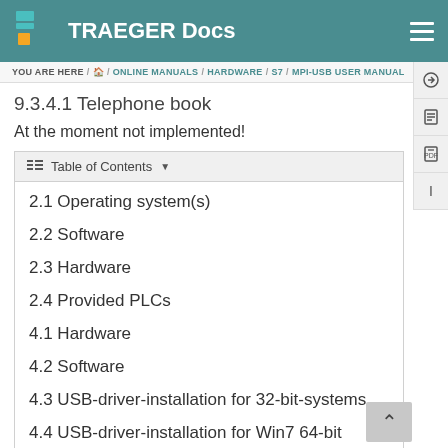TRAEGER Docs
YOU ARE HERE / Home / ONLINE MANUALS / HARDWARE / S7 / MPI-USB USER MANUAL
9.3.4.1 Telephone book
At the moment not implemented!
2.1 Operating system(s)
2.2 Software
2.3 Hardware
2.4 Provided PLCs
4.1 Hardware
4.2 Software
4.3 USB-driver-installation for 32-bit-systems
4.4 USB-driver-installation for Win7 64-bit
5.1 Keys
5.2 Display